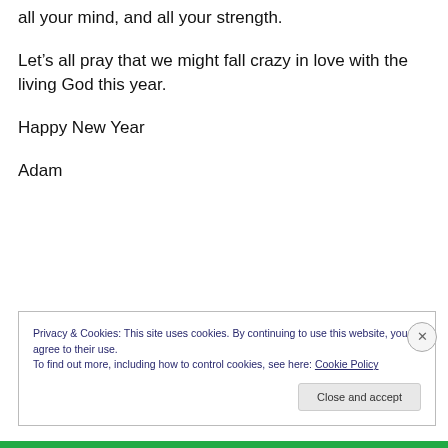all your mind, and all your strength.
Let’s all pray that we might fall crazy in love with the living God this year.
Happy New Year
Adam
Privacy & Cookies: This site uses cookies. By continuing to use this website, you agree to their use.
To find out more, including how to control cookies, see here: Cookie Policy